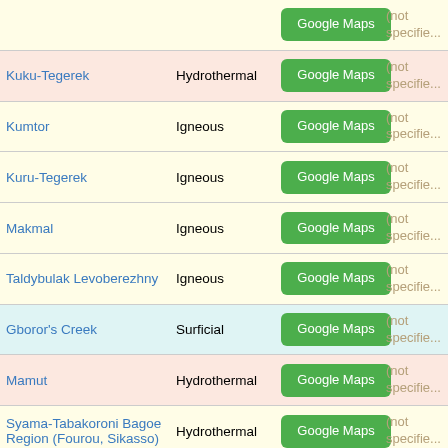| Name | Type | Map | Specified |
| --- | --- | --- | --- |
| (partial top row) |  | Google Maps | (not specifie... |
| Kuku-Tegerek | Hydrothermal | Google Maps | (not specifie... |
| Kumtor | Igneous | Google Maps | (not specifie... |
| Kuru-Tegerek | Igneous | Google Maps | (not specifie... |
| Makmal | Igneous | Google Maps | (not specifie... |
| Taldybulak Levoberezhny | Igneous | Google Maps | (not specifie... |
| Gboror's Creek | Surficial | Google Maps | (not specifie... |
| Mamut | Hydrothermal | Google Maps | (not specifie... |
| Syama-Tabakoroni Bagoe Region (Fourou, Sikasso) | Hydrothermal | Google Maps | (not specifie... |
| Akjoujt (Guelb Moghrein) | Hydrothermal | Google Maps | (not... |